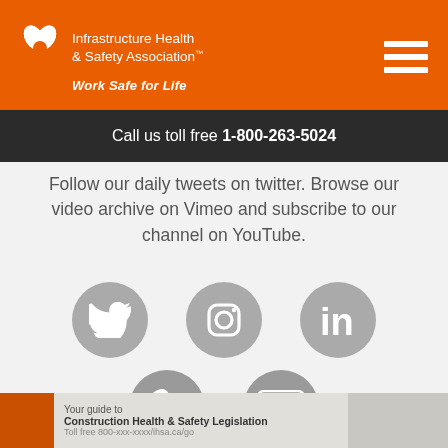Infrastructure Health & Safety Association™ Work Safe for Life
Call us toll free 1-800-263-5024
Follow our daily tweets on twitter. Browse our video archive on Vimeo and subscribe to our channel on YouTube.
[Figure (illustration): Grey circle social media icon: Twitter bird logo]
[Figure (illustration): Grey circle social media icon: Instagram camera logo]
[Figure (illustration): Grey circle social media icon: LinkedIn 'in' logo]
[Figure (illustration): Grey circle social media icon: Vimeo 'v' logo]
[Figure (illustration): Grey circle social media icon: YouTube logo]
Your guide to Construction Health & Safety Legislation Toll free 800-xxx-xxxx/ihsa.ca/go